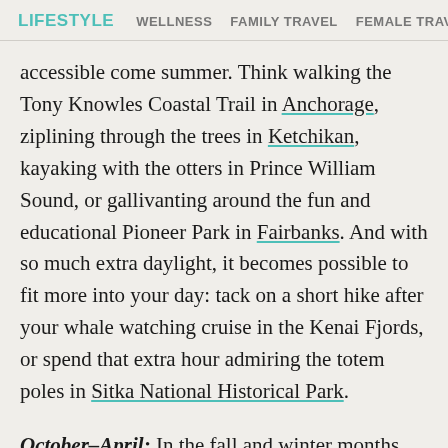LIFESTYLE   WELLNESS   FAMILY TRAVEL   FEMALE TRAV
accessible come summer. Think walking the Tony Knowles Coastal Trail in Anchorage, ziplining through the trees in Ketchikan, kayaking with the otters in Prince William Sound, or gallivanting around the fun and educational Pioneer Park in Fairbanks. And with so much extra daylight, it becomes possible to fit more into your day: tack on a short hike after your whale watching cruise in the Kenai Fjords, or spend that extra hour admiring the totem poles in Sitka National Historical Park.
October–April: In the fall and winter months, there will be fewer visitors, more budget-friendly options, and the reward of a more uncommon Alaska experience. While some businesses close, a lot is still